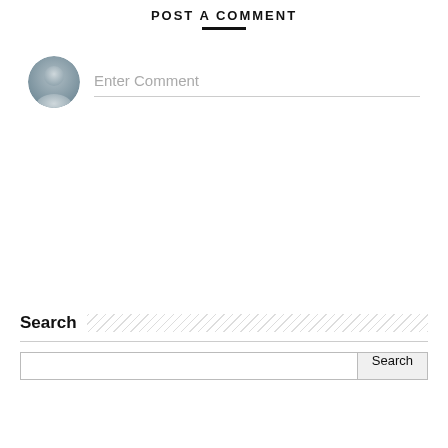POST A COMMENT
[Figure (illustration): A circular user avatar icon with a generic person silhouette in blue-grey tones]
Enter Comment
Search
Search input box with Search button